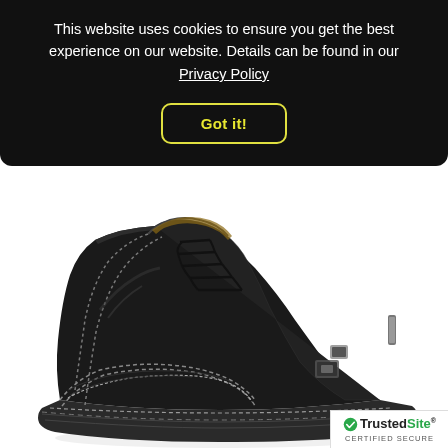This website uses cookies to ensure you get the best experience on our website. Details can be found in our Privacy Policy
Got it!
[Figure (photo): Black leather lace-up ankle boot with hand-stitched detailing on a chunky sole, shown on white background]
[Figure (logo): TrustedSite Certified Secure badge with green checkmark]